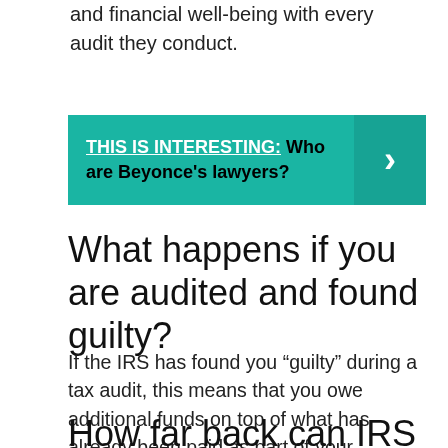and financial well-being with every audit they conduct.
[Figure (infographic): Teal banner with text 'THIS IS INTERESTING: Who are Beyonce's lawyers?' and a right-pointing arrow on the right side.]
What happens if you are audited and found guilty?
If the IRS has found you “guilty” during a tax audit, this means that you owe additional funds on top of what has already been paid as part of your previous tax return. At this point, you have the option to appeal the conclusion if you so choose.
How far back can IRS audit?